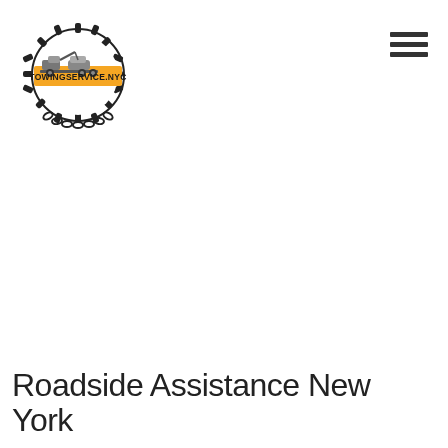[Figure (logo): Circular logo for TowingService.NYC featuring a tow truck carrying a car, surrounded by a gear/cog outline and chain border. A yellow-orange banner across the middle reads TOWINGSERVICE.NYC in dark text.]
[Figure (other): Hamburger menu icon — three horizontal dark grey bars stacked vertically, positioned in the top right area.]
Roadside Assistance New York